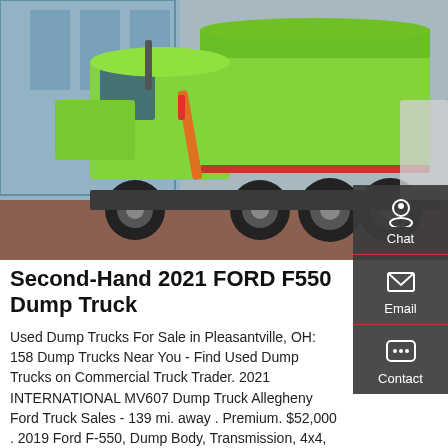[Figure (photo): Green dump truck (large, multi-axle) parked outdoors near a building, with a red promotional sign beside it.]
Second-Hand 2021 FORD F550 Dump Truck
Used Dump Trucks For Sale in Pleasantville, OH: 158 Dump Trucks Near You - Find Used Dump Trucks on Commercial Truck Trader. 2021 INTERNATIONAL MV607 Dump Truck Allegheny Ford Truck Sales - 139 mi. away . Premium. $52,000 . 2019 Ford F-550, Dump Body, Transmission, 4x4, 2019 Ford F-550 Regular Cab DRW 4x4, Dump Body ---- At Coughlin .